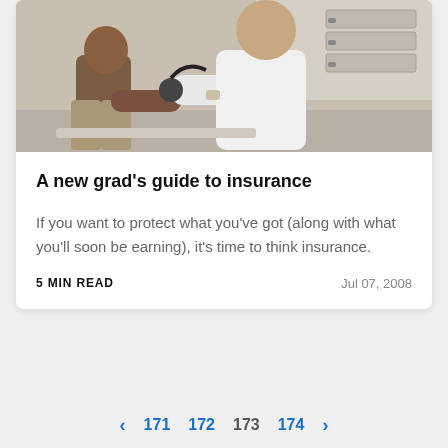[Figure (photo): A doctor in white coat using a stethoscope or blood pressure cuff on a seated male patient in a medical office setting.]
A new grad's guide to insurance
If you want to protect what you've got (along with what you'll soon be earning), it's time to think insurance.
5 MIN READ
Jul 07, 2008
< 171 172 173 174 >